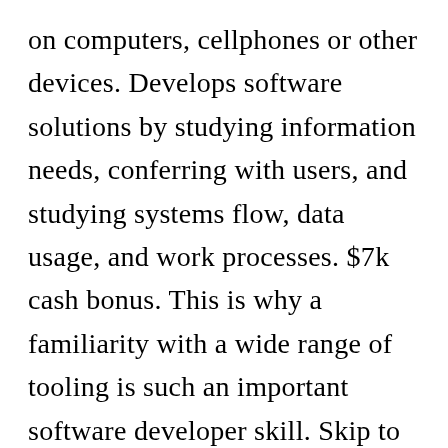on computers, cellphones or other devices. Develops software solutions by studying information needs, conferring with users, and studying systems flow, data usage, and work processes. $7k cash bonus. This is why a familiarity with a wide range of tooling is such an important software developer skill. Skip to content. Most popular OS's are built with their own programming languages but some traditional languages are being used as well. Privacy Policy A computer programmer, sometimes called a software developer, a programmer or more recently a coder (especially in more informal contexts), is a person who creates computer software. State & App Data If you're looking to start a career...